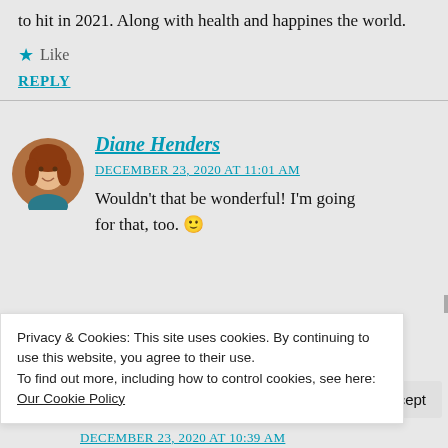to hit in 2021. Along with health and happiness the world.
★ Like
REPLY
[Figure (photo): Circular avatar photo of Diane Henders, a woman with red/auburn hair]
Diane Henders
DECEMBER 23, 2020 AT 11:01 AM
Wouldn't that be wonderful! I'm going for that, too. 🙂
Privacy & Cookies: This site uses cookies. By continuing to use this website, you agree to their use.
To find out more, including how to control cookies, see here: Our Cookie Policy
Close and accept
DECEMBER 23, 2020 AT 10:39 AM